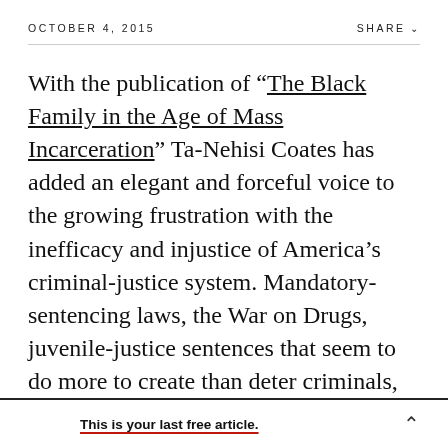OCTOBER 4, 2015    SHARE
With the publication of “The Black Family in the Age of Mass Incarceration” Ta-Nehisi Coates has added an elegant and forceful voice to the growing frustration with the inefficacy and injustice of America’s criminal-justice system. Mandatory-sentencing laws, the War on Drugs, juvenile-justice sentences that seem to do more to create than deter criminals, racial arrest and sentencing disparities: All are ready for a tough national cross-
This is your last free article.